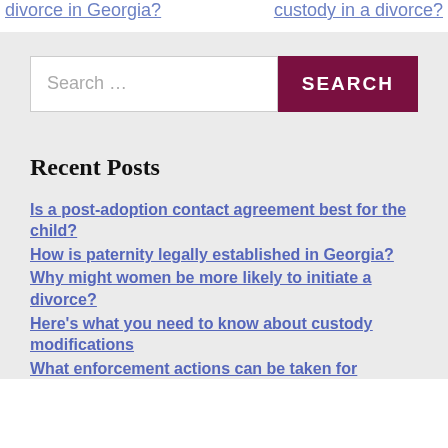divorce in Georgia?
custody in a divorce?
[Figure (screenshot): Search bar with text input showing 'Search …' placeholder and a dark red 'SEARCH' button]
Recent Posts
Is a post-adoption contact agreement best for the child?
How is paternity legally established in Georgia?
Why might women be more likely to initiate a divorce?
Here's what you need to know about custody modifications
What enforcement actions can be taken for